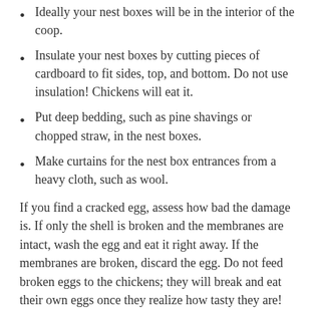Ideally your nest boxes will be in the interior of the coop.
Insulate your nest boxes by cutting pieces of cardboard to fit sides, top, and bottom. Do not use insulation! Chickens will eat it.
Put deep bedding, such as pine shavings or chopped straw, in the nest boxes.
Make curtains for the nest box entrances from a heavy cloth, such as wool.
If you find a cracked egg, assess how bad the damage is. If only the shell is broken and the membranes are intact, wash the egg and eat it right away. If the membranes are broken, discard the egg. Do not feed broken eggs to the chickens; they will break and eat their own eggs once they realize how tasty they are!